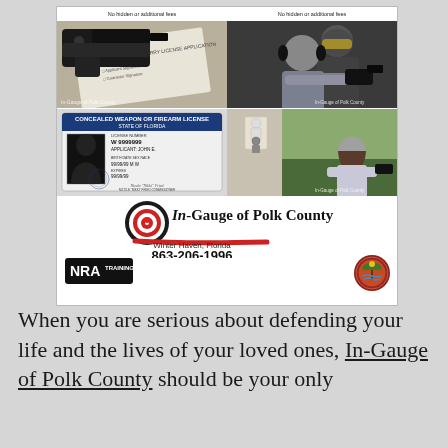[Figure (infographic): Advertisement for In-Gauge of Polk County firearms training. Top shows four photos: a handgun on a concealed carry license application, an instructor with student at shooting range, a Florida Concealed Weapon or Firearm License card (W 9999999, Applicant John E.), and a woman at a shooting range. Bottom section shows In-Gauge of Polk County logo, NRA Training badge, phone number 863-206-1996, Winter Haven Florida, and a Florida state seal.]
When you are serious about defending your life and the lives of your loved ones, In-Gauge of Polk County should be your only